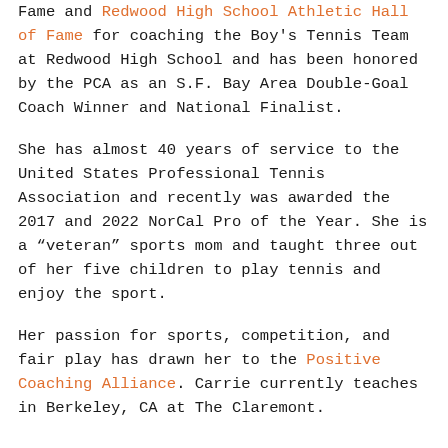Fame and Redwood High School Athletic Hall of Fame for coaching the Boy's Tennis Team at Redwood High School and has been honored by the PCA as an S.F. Bay Area Double-Goal Coach Winner and National Finalist.
She has almost 40 years of service to the United States Professional Tennis Association and recently was awarded the 2017 and 2022 NorCal Pro of the Year. She is a “veteran” sports mom and taught three out of her five children to play tennis and enjoy the sport.
Her passion for sports, competition, and fair play has drawn her to the Positive Coaching Alliance. Carrie currently teaches in Berkeley, CA at The Claremont.